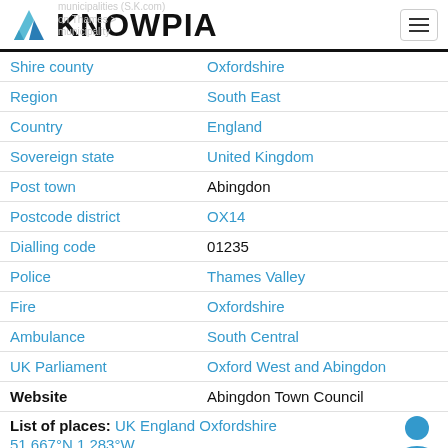KNOWPIA
| Field | Value |
| --- | --- |
| Shire county | Oxfordshire |
| Region | South East |
| Country | England |
| Sovereign state | United Kingdom |
| Post town | Abingdon |
| Postcode district | OX14 |
| Dialling code | 01235 |
| Police | Thames Valley |
| Fire | Oxfordshire |
| Ambulance | South Central |
| UK Parliament | Oxford West and Abingdon |
| Website | Abingdon Town Council |
List of places: UK England Oxfordshire
51.667°N 1.283°W
The town survived the dissolution of the abbey in 1538, and by the 18th and 19th centuries, with the